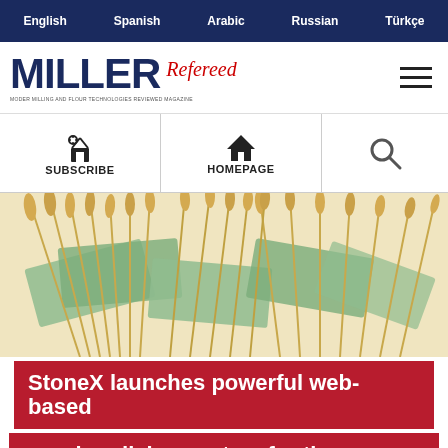English | Spanish | Arabic | Russian | Türkçe
[Figure (logo): MILLER Refereed magazine logo with subtitle text]
[Figure (infographic): Navigation bar with Subscribe and Homepage icons and search icon]
[Figure (photo): Wheat stalks and US dollar bills arranged together on white background]
StoneX launches powerful web-based merchandising system for the commercial